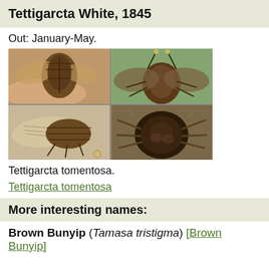Tettigarcta White, 1845
Out: January-May.
[Figure (photo): Four photos of Tettigarcta tomentosa cicada: top-left dorsal view held in hand, bottom-left lateral/dorsal view, top-right frontal/head-on view, bottom-right close-up ventral view.]
Tettigarcta tomentosa.
Tettigarcta tomentosa
More interesting names:
Brown Bunyip (Tamasa tristigma) [Brown Bunyip]